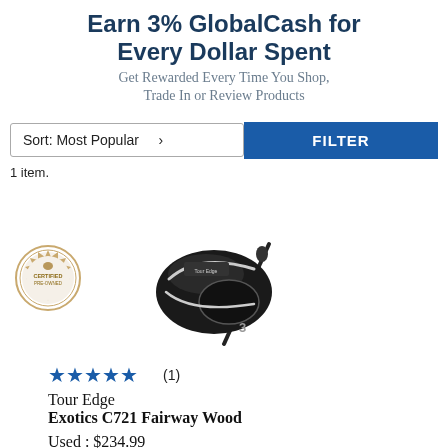Earn 3% GlobalCash for Every Dollar Spent
Get Rewarded Every Time You Shop, Trade In or Review Products
Sort: Most Popular
FILTER
1 item.
[Figure (photo): Tour Edge Exotics C721 Fairway Wood golf club head, black with silver accents, showing club face and hosel]
[Figure (logo): Certified Pre-Owned circular badge/seal]
★★★★★ (1)
Tour Edge
Exotics C721 Fairway Wood
Used : $234.99